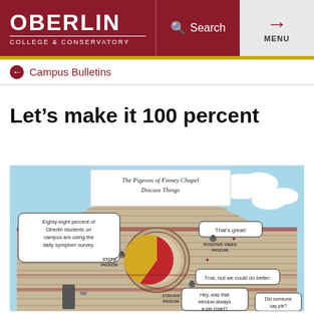OBERLIN COLLEGE & CONSERVATORY | Search | MENU
Campus Bulletins
Let’s make it 100 percent
[Figure (illustration): Illustrated cartoon titled 'The Pigeons of Finney Chapel Discuss Things'. Shows the front gable of Finney Chapel with pigeons. A circular window is depicted as a pie chart (mostly red with a small gold/yellow slice). Speech bubbles: Stats Pigeon says 'Eighty-eight percent of Oberlin students on campus are using the daily symptom survey.' Positive Vibes Pigeon says 'That’s great!' Another pigeon says 'True, but we could do better.' Striver Pigeon says 'Hey, was that window always a pie chart?' Another says 'Did someone say pie?']